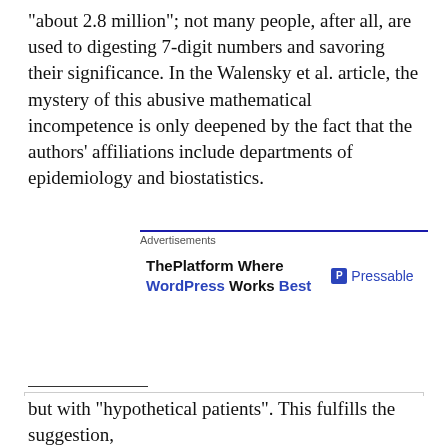“about 2.8 million”; not many people, after all, are used to digesting 7-digit numbers and savoring their significance. In the Walensky et al. article, the mystery of this abusive mathematical incompetence is only deepened by the fact that the authors’ affiliations include departments of epidemiology and biostatistics.
[Figure (other): Advertisement block: ThePlatform Where WordPress Works Best | Pressable]
but with “hypothetical patients”. This fulfills the suggestion,
Privacy & Cookies: This site uses cookies. By continuing to use this website, you agree to their use. To find out more, including how to control cookies, see here: Cookie Policy